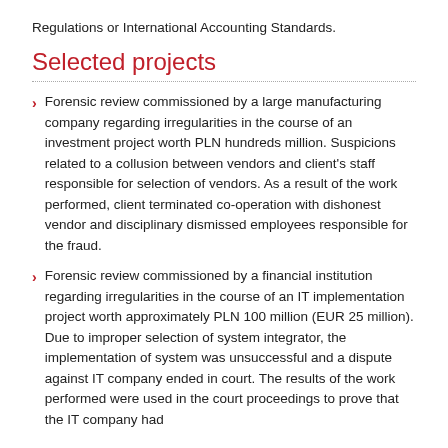Regulations or International Accounting Standards.
Selected projects
Forensic review commissioned by a large manufacturing company regarding irregularities in the course of an investment project worth PLN hundreds million. Suspicions related to a collusion between vendors and client's staff responsible for selection of vendors. As a result of the work performed, client terminated co-operation with dishonest vendor and disciplinary dismissed employees responsible for the fraud.
Forensic review commissioned by a financial institution regarding irregularities in the course of an IT implementation project worth approximately PLN 100 million (EUR 25 million). Due to improper selection of system integrator, the implementation of system was unsuccessful and a dispute against IT company ended in court. The results of the work performed were used in the court proceedings to prove that the IT company had